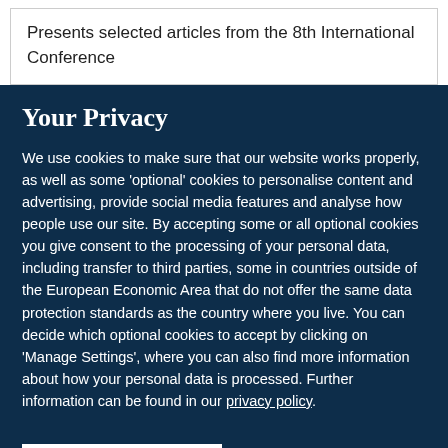Presents selected articles from the 8th International Conference
Your Privacy
We use cookies to make sure that our website works properly, as well as some 'optional' cookies to personalise content and advertising, provide social media features and analyse how people use our site. By accepting some or all optional cookies you give consent to the processing of your personal data, including transfer to third parties, some in countries outside of the European Economic Area that do not offer the same data protection standards as the country where you live. You can decide which optional cookies to accept by clicking on 'Manage Settings', where you can also find more information about how your personal data is processed. Further information can be found in our privacy policy.
Accept all cookies
Manage preferences